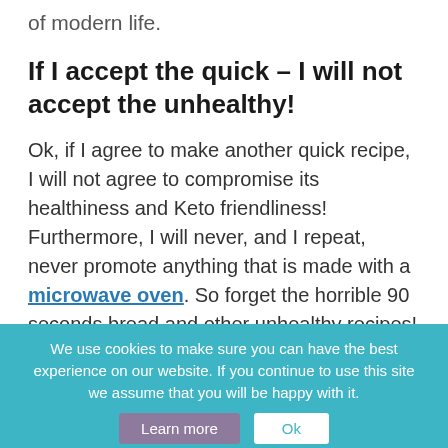of modern life.
If I accept the quick – I will not accept the unhealthy!
Ok, if I agree to make another quick recipe, I will not agree to compromise its healthiness and Keto friendliness! Furthermore, I will never, and I repeat, never promote anything that is made with a microwave oven. So forget the horrible 90 seconds bread and other unhealthy recipes! Staying on a healthy side means staying sane! After all, many of us don't cook only for ourselves.
We use cookies to make sure you can have the best experience on our website. If you continue to use this site we assume that you will be happy with it. Learn more Ok